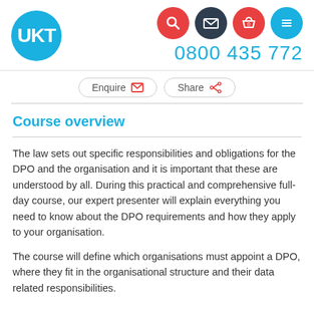[Figure (logo): UKT logo — white letters UKT on a blue circle, with four navigation icon circles (search red, mail dark, basket red, menu teal) and phone number 0800 435 772]
[Figure (other): Action buttons: Enquire (mail icon) and Share (share icon)]
Course overview
The law sets out specific responsibilities and obligations for the DPO and the organisation and it is important that these are understood by all. During this practical and comprehensive full-day course, our expert presenter will explain everything you need to know about the DPO requirements and how they apply to your organisation.
The course will define which organisations must appoint a DPO, where they fit in the organisational structure and their data related responsibilities.